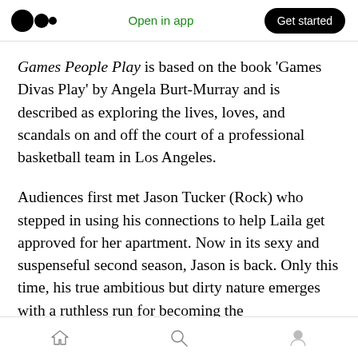Medium logo | Open in app | Get started
Games People Play is based on the book 'Games Divas Play' by Angela Burt-Murray and is described as exploring the lives, loves, and scandals on and off the court of a professional basketball team in Los Angeles.
Audiences first met Jason Tucker (Rock) who stepped in using his connections to help Laila get approved for her apartment. Now in its sexy and suspenseful second season, Jason is back. Only this time, his true ambitious but dirty nature emerges with a ruthless run for becoming the
Home | Search | Profile